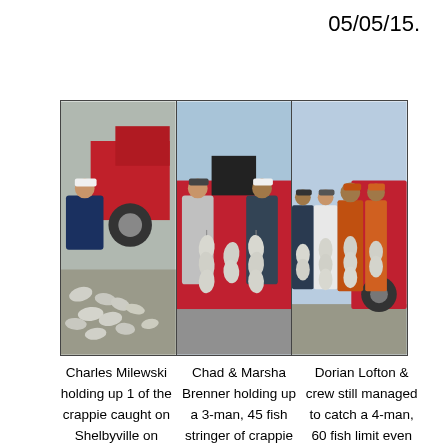05/05/15.
[Figure (photo): Three side-by-side fishing photos: left shows a person kneeling next to crappie fish spread on the ground near a red truck; center shows two men holding up a large stringer of crappie fish in front of a boat; right shows four people holding up stringers of crappie fish.]
Charles Milewski holding up 1 of the crappie caught on Shelbyville on 04/28/15.
Chad & Marsha Brenner holding up a 3-man, 45 fish stringer of crappie caught 04/27/15.
Dorian Lofton & crew still managed to catch a 4-man, 60 fish limit even with all the wind 04/21/15 on